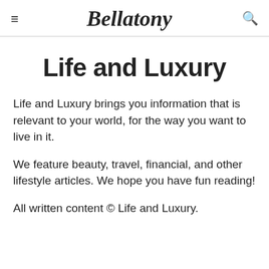≡ Bellatony 🔍
Life and Luxury
Life and Luxury brings you information that is relevant to your world, for the way you want to live in it.
We feature beauty, travel, financial, and other lifestyle articles. We hope you have fun reading!
All written content © Life and Luxury.